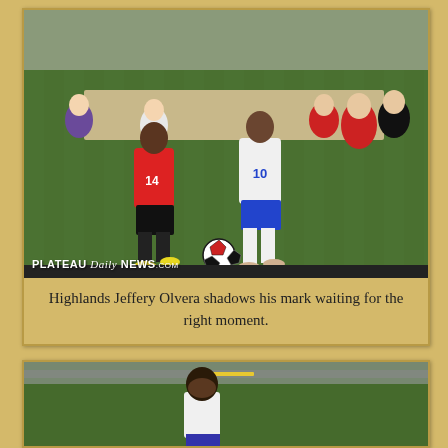[Figure (photo): Soccer match photo: a player in a black and red uniform shadows a player wearing white jersey number 10 with blue shorts, on a grass field with spectators in the background. A soccer ball is on the ground. Plateau Daily News watermark in bottom left.]
Highlands Jeffery Olvera shadows his mark waiting for the right moment.
[Figure (photo): Partial photo of a soccer player from behind, on a grass field with a road visible in the background.]